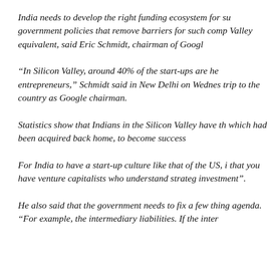India needs to develop the right funding ecosystem for su government policies that remove barriers for such comp Valley equivalent, said Eric Schmidt, chairman of Googl
“In Silicon Valley, around 40% of the start-ups are he entrepreneurs,” Schmidt said in New Delhi on Wednes trip to the country as Google chairman.
Statistics show that Indians in the Silicon Valley have th which had been acquired back home, to become success
For India to have a start-up culture like that of the US, i that you have venture capitalists who understand strateg investment”.
He also said that the government needs to fix a few thing agenda. “For example, the intermediary liabilities. If the inter